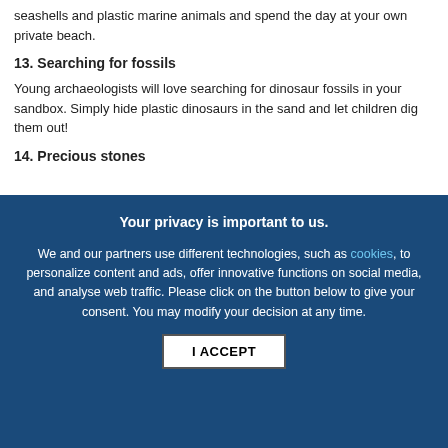seashells and plastic marine animals and spend the day at your own private beach.
13. Searching for fossils
Young archaeologists will love searching for dinosaur fossils in your sandbox. Simply hide plastic dinosaurs in the sand and let children dig them out!
14. Precious stones
Your privacy is important to us.
We and our partners use different technologies, such as cookies, to personalize content and ads, offer innovative functions on social media, and analyse web traffic. Please click on the button below to give your consent. You may modify your decision at any time.
I ACCEPT